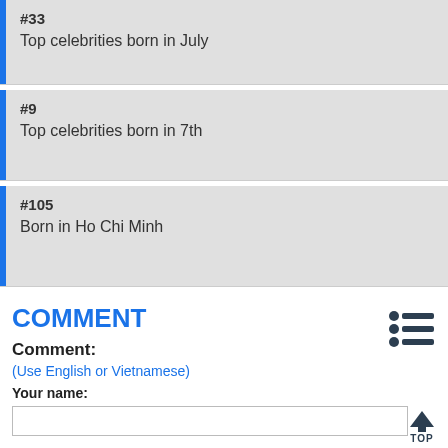#33
Top celebrities born in July
#9
Top celebrities born in 7th
#105
Born in Ho Chi Minh
COMMENT
Comment:
(Use English or Vietnamese)
Your name: